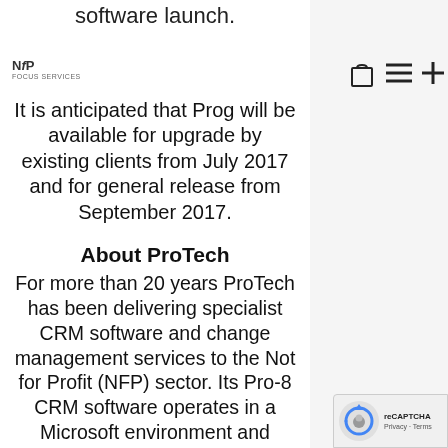software launch.
NfP
It is anticipated that Prog will be available for upgrade by existing clients from July 2017 and for general release from September 2017.
About ProTech
For more than 20 years ProTech has been delivering specialist CRM software and change management services to the Not for Profit (NFP) sector. Its Pro-8 CRM software operates in a Microsoft environment and delivers easily configurable specialist NFP modules with CRM, workflow, process automation and reporting
[Figure (logo): reCAPTCHA badge bottom right with logo and Privacy/Terms links]